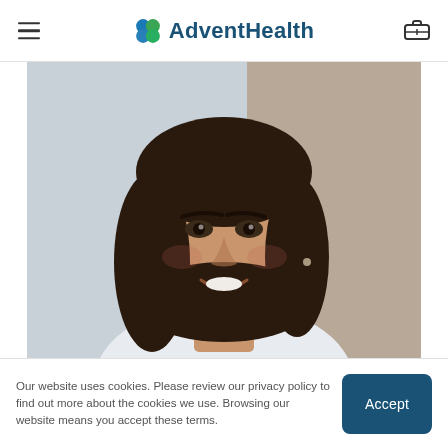AdventHealth
[Figure (photo): Smiling woman with dark hair, wearing a white lab coat, photographed in a clinical or office setting. Portrait-style close-up photo.]
Our website uses cookies. Please review our privacy policy to find out more about the cookies we use. Browsing our website means you accept these terms.